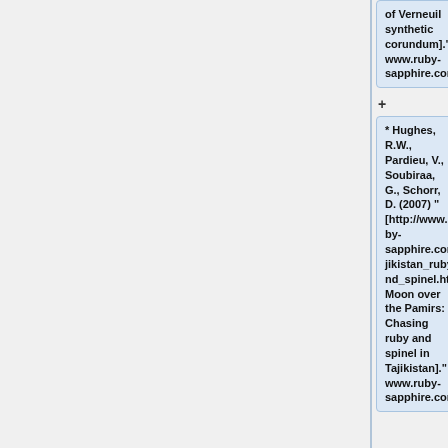of Verneuil synthetic corundum]." www.ruby-sapphire.com.
* Hughes, R.W., Pardieu, V., Soubiraa, G., Schorr, D. (2007) "[http://www.ruby-sapphire.com/tajikistan_ruby_and_spinel.htm Moon over the Pamirs: Chasing ruby and spinel in Tajikistan]." www.ruby-sapphire.com.